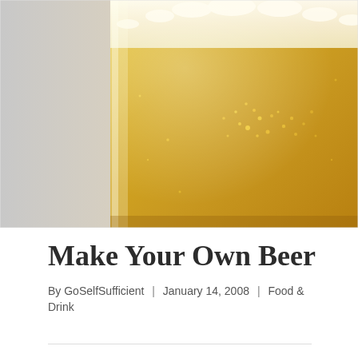[Figure (photo): Close-up photograph of a tall glass of golden lager beer with a white foamy head at the top, bubbles visible throughout the amber liquid, set against a light grey background.]
Make Your Own Beer
By GoSelfSufficient | January 14, 2008 | Food & Drink